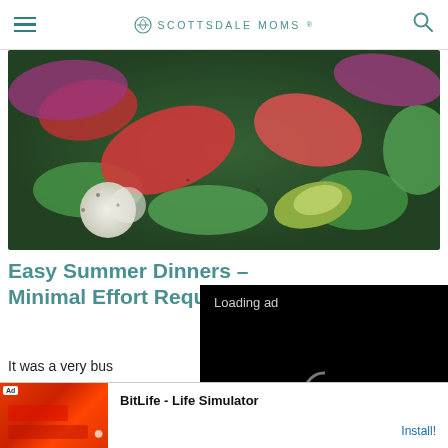SCOTTSDALE MOMS
[Figure (photo): Close-up photo of colorful summer salad with vegetables including red bell peppers, cucumbers, red onion, and other fresh vegetables with herbs]
Easy Summer Dinners – Minimal Effort Required
It was a very busy... rolled around I w... whole thing. I su... fridge, freezer an... uninspired. What I ended up serving for
[Figure (screenshot): Video player overlay showing 'Loading ad' text with spinner icon and playback controls (pause, expand, mute)]
[Figure (other): BitLife - Life Simulator advertisement banner with red background image and Install button]